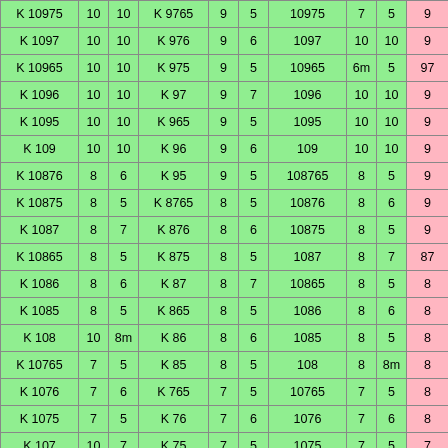| K 10975 | 10 | 10 | K 9765 | 9 | 5 | 10975 | 7 | 5 | 9 |
| K 1097 | 10 | 10 | K 976 | 9 | 6 | 1097 | 10 | 10 | 9 |
| K 10965 | 10 | 10 | K 975 | 9 | 5 | 10965 | 6m | 5 | 97 |
| K 1096 | 10 | 10 | K 97 | 9 | 7 | 1096 | 10 | 10 | 9 |
| K 1095 | 10 | 10 | K 965 | 9 | 5 | 1095 | 10 | 10 | 9 |
| K 109 | 10 | 10 | K 96 | 9 | 6 | 109 | 10 | 10 | 9 |
| K 10876 | 8 | 6 | K 95 | 9 | 5 | 108765 | 8 | 5 | 9 |
| K 10875 | 8 | 5 | K 8765 | 8 | 5 | 10876 | 8 | 6 | 9 |
| K 1087 | 8 | 7 | K 876 | 8 | 6 | 10875 | 8 | 5 | 9 |
| K 10865 | 8 | 5 | K 875 | 8 | 5 | 1087 | 8 | 7 | 87 |
| K 1086 | 8 | 6 | K 87 | 8 | 7 | 10865 | 8 | 5 | 8 |
| K 1085 | 8 | 5 | K 865 | 8 | 5 | 1086 | 8 | 6 | 8 |
| K 108 | 10 | 8m | K 86 | 8 | 6 | 1085 | 8 | 5 | 8 |
| K 10765 | 7 | 5 | K 85 | 8 | 5 | 108 | 8 | 8m | 8 |
| K 1076 | 7 | 6 | K 765 | 7 | 5 | 10765 | 7 | 5 | 8 |
| K 1075 | 7 | 5 | K 76 | 7 | 6 | 1076 | 7 | 6 | 8 |
| K 107 | 10 | 7 | K 75 | 7 | 5 | 1075 | 7 | 5 | 7 |